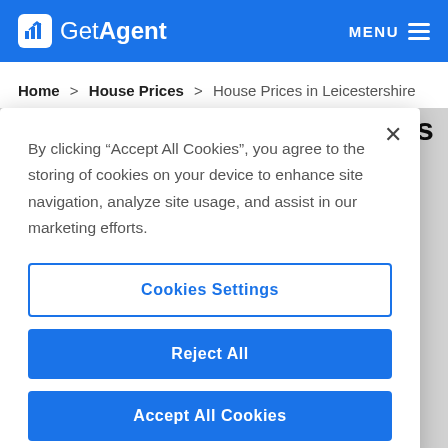GetAgent | MENU
Home > House Prices > House Prices in Leicestershire
Leicestershire House Prices
By clicking “Accept All Cookies”, you agree to the storing of cookies on your device to enhance site navigation, analyze site usage, and assist in our marketing efforts.
Cookies Settings
Reject All
Accept All Cookies